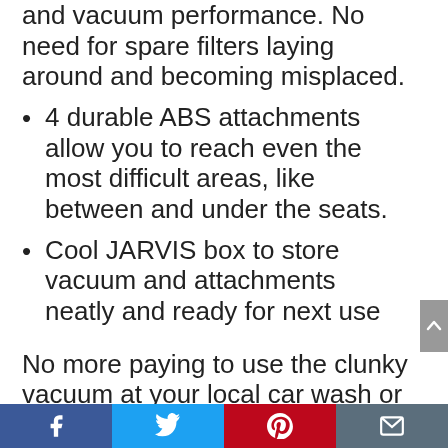and vacuum performance. No need for spare filters laying around and becoming misplaced.
4 durable ABS attachments allow you to reach even the most difficult areas, like between and under the seats.
Cool JARVIS box to store vacuum and attachments neatly and ready for next use
No more paying to use the clunky vacuum at your local car wash or lugging out the heavy house vacuum everytime your kids or your passengers make a mess. Get a professional detail anytime anywhere. Whether you are a car enthusiast, supermom, uber driver, OG or